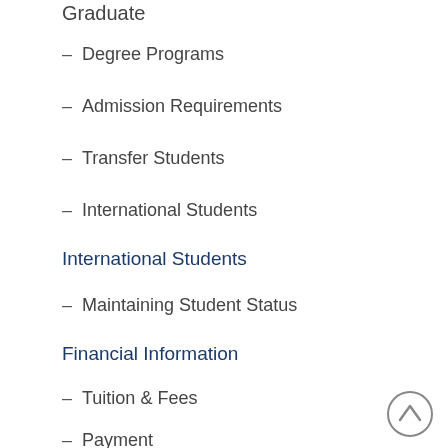Graduate
– Degree Programs
– Admission Requirements
– Transfer Students
– International Students
International Students
– Maintaining Student Status
Financial Information
– Tuition & Fees
– Payment
– Financial Aid
– Satisfactory Academic Progress Policy
– Forms